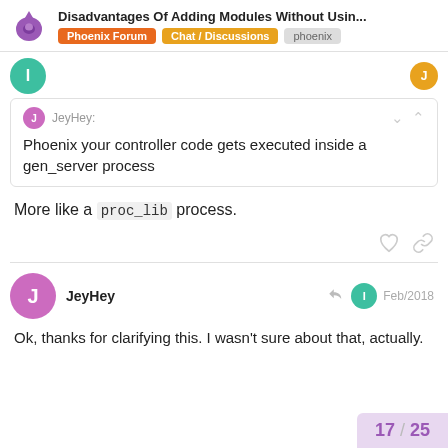Disadvantages Of Adding Modules Without Usin... | Phoenix Forum | Chat / Discussions | phoenix
JeyHey: Phoenix your controller code gets executed inside a gen_server process
More like a proc_lib process.
JeyHey Feb/2018
Ok, thanks for clarifying this. I wasn't sure about that, actually.
17 / 25